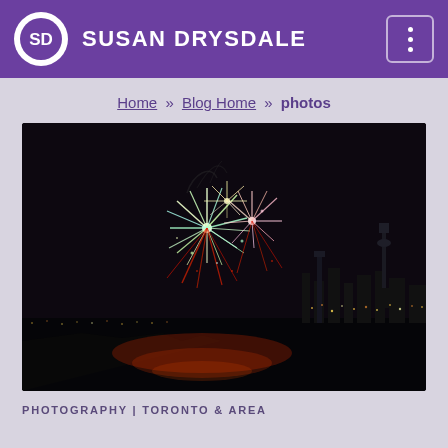SUSAN DRYSDALE
Home » Blog Home » photos
[Figure (photo): Nighttime fireworks over a waterfront with Toronto city skyline including CN Tower visible in the background. Colorful fireworks burst in red and white, reflecting on the water.]
PHOTOGRAPHY | TORONTO & AREA